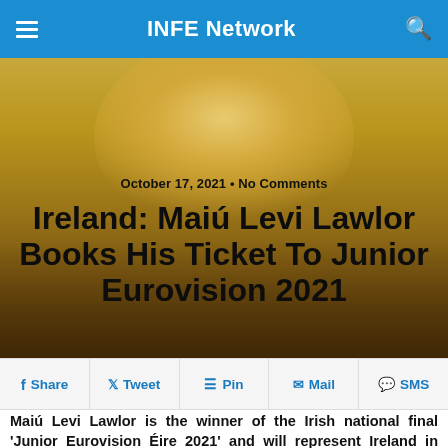INFE Network
[Figure (photo): Hero image of a young person (Maiú Levi Lawlor) with golden/amber background tones, overlaid with article date and title text]
October 17, 2021 • No Comments
Ireland: Maiú Levi Lawlor Books His Ticket To Junior Eurovision 2021
Share  Tweet  Pin  Mail  SMS
Maiú Levi Lawlor is the winner of the Irish national final 'Junior Eurovision Éire 2021' and will represent Ireland in Paris.
Following four qualifying rounds and a semi final show, the Irish national final for Junior Eurovision